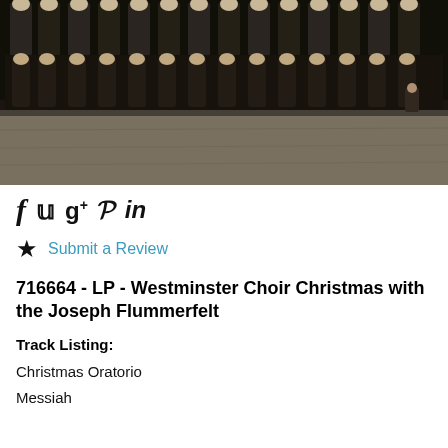[Figure (photo): Black and white group photograph of the Westminster Choir, showing rows of choir members in dark robes standing together.]
f 𝕨 g+ 𝒫 in (social media share icons: Facebook, Twitter, Google+, Pinterest, LinkedIn)
★ Submit a Review
716664 - LP - Westminster Choir Christmas with the Joseph Flummerfelt
Track Listing:
Christmas Oratorio
Messiah